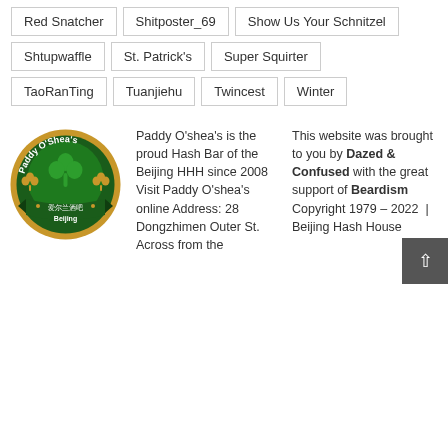Red Snatcher
Shitposter_69
Show Us Your Schnitzel
Shtupwaffle
St. Patrick's
Super Squirter
TaoRanTing
Tuanjiehu
Twincest
Winter
[Figure (logo): Paddy O'Shea's Beijing logo — circular gold/dark green badge with shamrock and Chinese text, ribbon banner reading Beijing]
Paddy O'shea's is the proud Hash Bar of the Beijing HHH since 2008 Visit Paddy O'shea's online Address: 28 Dongzhimen Outer St. Across from the
This website was brought to you by Dazed & Confused with the great support of Beardism Copyright 1979 – 2022 | Beijing Hash House